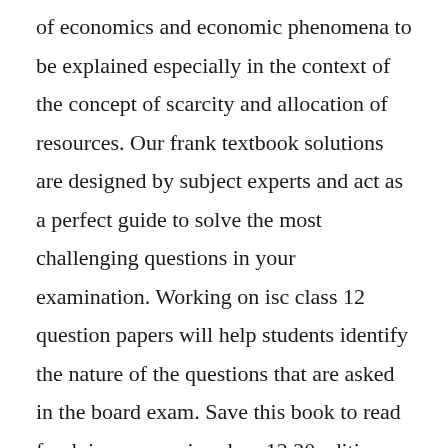of economics and economic phenomena to be explained especially in the context of the concept of scarcity and allocation of resources. Our frank textbook solutions are designed by subject experts and act as a perfect guide to solve the most challenging questions in your examination. Working on isc class 12 question papers will help students identify the nature of the questions that are asked in the board exam. Save this book to read frank isc economics class 12 20 edition pdf ebook at our online library.